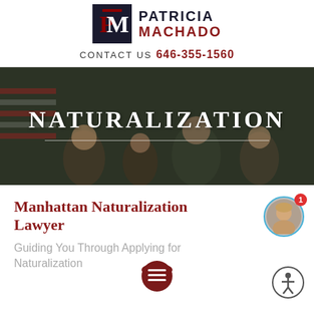[Figure (logo): Law Office of Patricia Machado logo: dark navy square with red and white PM monogram letters, beside the text PATRICIA MACHADO in navy and red]
Contact Us 646-355-1560
[Figure (photo): Hero banner photo of a smiling family holding an American flag, with semi-transparent dark overlay and the word NATURALIZATION in white serif capital letters centered, with a thin white horizontal divider line below]
Manhattan Naturalization Lawyer
Guiding You Through Applying for Naturalization